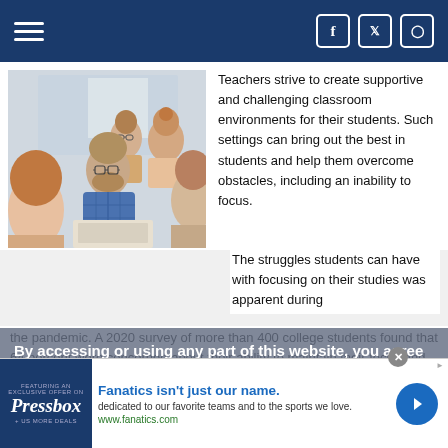Navigation bar with hamburger menu and social icons (Facebook, Twitter, Instagram)
[Figure (photo): Classroom photo showing students and a male instructor with glasses in a blue plaid shirt, with female students visible in foreground and background]
Teachers strive to create supportive and challenging classroom environments for their students. Such settings can bring out the best in students and help them overcome obstacles, including an inability to focus.
The struggles students can have with focusing on their studies was apparent during the pandemic. A 2020 survey of more than 400 college students found that 64 percent were concerned about their ability to maintain their focus and discipline in remote instructional environments. Though educators, students and parents are
By accessing or using any part of this website, you agree to our privacy policy. Learn more
Fanatics isn't just our name.
dedicated to our favorite teams and to the sports we love.
www.fanatics.com